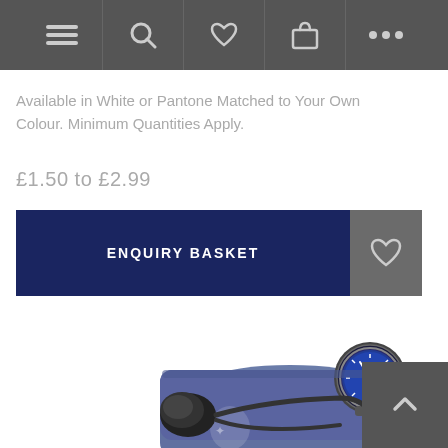Navigation bar with menu, search, heart, basket, and more icons
Available in White or Pantone Matched to Your Own Colour. Minimum Quantities Apply.
£1.50 to £2.99
ENQUIRY BASKET
[Figure (photo): Blood pressure sphygmomanometer with a navy/blue cuff, circular gauge dial, black rubber bulb, and tubing laid out on white background]